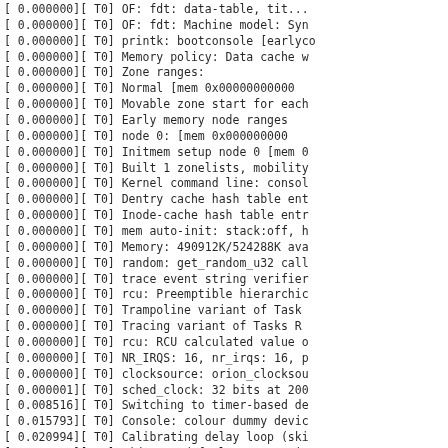[    0.000000][  T0] OF: fdt: data-table, tit...
[    0.000000][  T0] OF: fdt: Machine model: Sy...
[    0.000000][  T0] printk: bootconsole [earlyco...
[    0.000000][  T0] Memory policy: Data cache w...
[    0.000000][  T0] Zone ranges:
[    0.000000][  T0]   Normal   [mem 0x000000000...
[    0.000000][  T0] Movable zone start for each...
[    0.000000][  T0] Early memory node ranges
[    0.000000][  T0]   node  0: [mem 0x000000000...
[    0.000000][  T0] Initmem setup node 0 [mem 0...
[    0.000000][  T0] Built 1 zonelists, mobility...
[    0.000000][  T0] Kernel command line: consol...
[    0.000000][  T0] Dentry cache hash table ent...
[    0.000000][  T0] Inode-cache hash table entr...
[    0.000000][  T0] mem auto-init: stack:off, h...
[    0.000000][  T0] Memory: 490912K/524288K ava...
[    0.000000][  T0] random: get_random_u32 call...
[    0.000000][  T0] trace event string verifier...
[    0.000000][  T0] rcu: Preemptible hierarchic...
[    0.000000][  T0]  Trampoline variant of Task...
[    0.000000][  T0]  Tracing variant of Tasks R...
[    0.000000][  T0] rcu: RCU calculated value o...
[    0.000000][  T0] NR_IRQS: 16, nr_irqs: 16, p...
[    0.000000][  T0] clocksource: orion_clocksou...
[    0.000001][  T0] sched_clock: 32 bits at 200...
[    0.008516][  T0] Switching to timer-based de...
[    0.015793][  T0] Console: colour dummy devic...
[    0.020994][  T0] Calibrating delay loop (ski...
[    0.032206][  T0] pid_max: default: 32768 min...
[    0.037804][  T0] LSM: Security Framework ini...
[    0.043261][  T0] Mount-cache hash table entr...